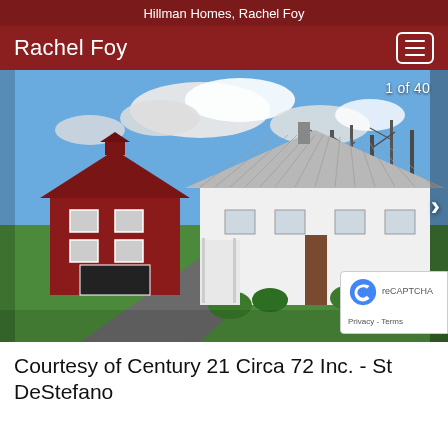Hillman Homes, Rachel Foy
Rachel Foy
[Figure (photo): Exterior photo of a white Cape Cod style house with a metal roof and a red barn/garage in the background. Green lawn in foreground, bare trees and blue sky with clouds behind. Navigation arrow and '1 of 40' counter overlay visible. reCAPTCHA badge in bottom-right corner.]
Courtesy of Century 21 Circa 72 Inc. - St DeStefano